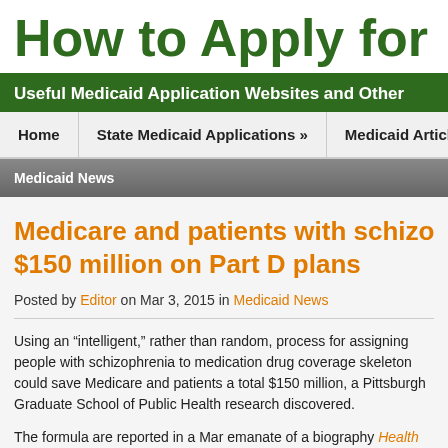How to Apply for
Useful Medicaid Application Websites and Other
Home | State Medicaid Applications » | Medicaid Articles »
Medicaid News
Medicare and patients with schizophrenia: $150 million on Part D plans
Posted by Editor on Mar 3, 2015 in Medicaid News
Using an “intelligent,” rather than random, process for assigning people with schizophrenia to medication drug coverage skeleton could save Medicare and patients a total $150 million, a Pittsburgh Graduate School of Public Health research discovered.
The formula are reported in a Mar emanate of a biography Health Affairs and build on